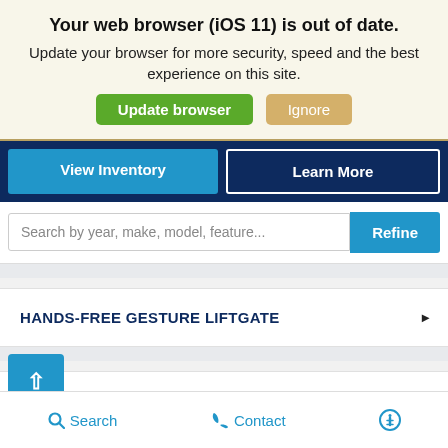Your web browser (iOS 11) is out of date.
Update your browser for more security, speed and the best experience on this site.
Update browser   Ignore
View Inventory   Learn More
Search by year, make, model, feature...   Refine
HANDS-FREE GESTURE LIFTGATE
INTELLIBEAM® AND LED HEADLIGHTS
Search   Contact   (accessibility icon)